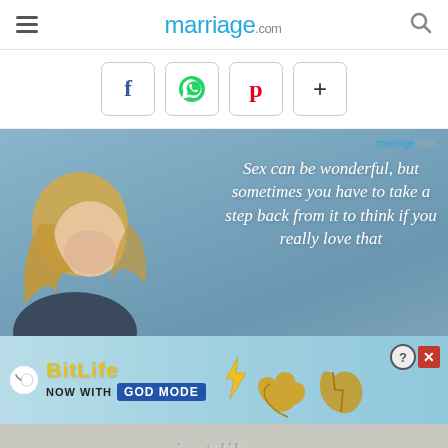marriage.com
[Figure (screenshot): Social share buttons: Facebook (f), WhatsApp (green phone icon), Pinterest (p red), plus (+) more button]
[Figure (illustration): Quote card with blue-gray background showing text: 'Sex can be wonderful, but sometimes you have to take a step back from it to think if you really love that' with marriage.com logo, and a woman with blonde hair looking down at bottom left. Overlaid at bottom is a BitLife advertisement banner with 'NOW WITH GOD MODE' text and hand/thumbs up icons.]